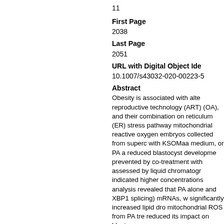11
First Page
2038
Last Page
2051
URL with Digital Object Ide
10.1007/s43032-020-00223-5
Abstract
Obesity is associated with alte reproductive technology (ART) (OA), and their combination on reticulum (ER) stress pathway mitochondrial reactive oxygen embryos collected from superc with KSOMaa medium, or PA a reduced blastocyst developme prevented by co-treatment with assessed by liquid chromatogr indicated higher concentrations analysis revealed that PA alone and XBP1 splicing) mRNAs, w significantly increased lipid dro mitochondrial ROS from PA tre reduced its impact on blastocys